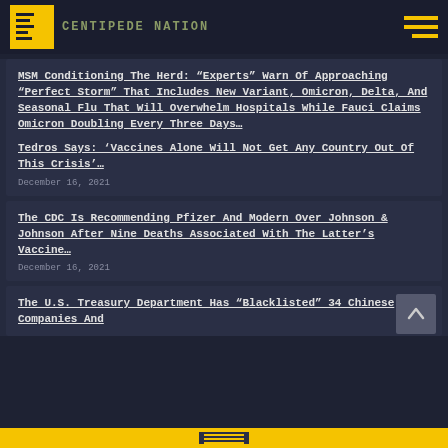CENTIPEDE NATION
MSM Conditioning The Herd: “Experts” Warn Of Approaching “Perfect Storm” That Includes New Variant, Omicron, Delta, And Seasonal Flu That Will Overwhelm Hospitals While Fauci Claims Omicron Doubling Every Three Days…
Tedros Says: 'Vaccines Alone Will Not Get Any Country Out Of This Crisis'…
December 16, 2021
The CDC Is Recommending Pfizer And Modern Over Johnson & Johnson After Nine Deaths Associated With The Latter’s Vaccine…
December 16, 2021
The U.S. Treasury Department Has “Blacklisted” 34 Chinese Companies And